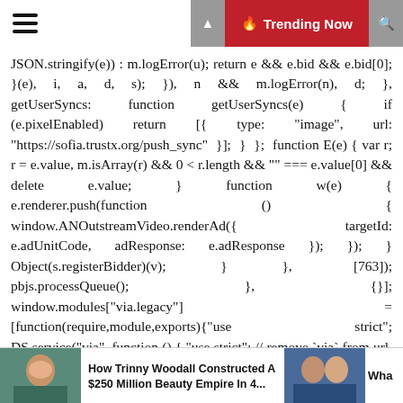≡  🔥 Trending Now
JSON.stringify(e)) : m.logError(u); return e && e.bid && e.bid[0]; }(e), i, a, d, s); }), n && m.logError(n), d; }, getUserSyncs: function getUserSyncs(e) { if (e.pixelEnabled) return [{ type: "image", url: "https://sofia.trustx.org/push_sync" }]; } }; function E(e) { var r; r = e.value, m.isArray(r) && 0 < r.length && "" === e.value[0] && delete e.value; } function w(e) { e.renderer.push(function () { window.ANOutstreamVideo.renderAd({ targetId: e.adUnitCode, adResponse: e.adResponse }); }); } Object(s.registerBidder)(v); } }, [763]); pbjs.processQueue(); }, {}]; window.modules["via.legacy"] = [function(require,module,exports){"use strict"; DS.service("via", function () { "use strict"; // remove `via` from url, to be used after amplitude logs it to prevent users from sharing such urls function
[Figure (photo): Thumbnail of a person on the left side of the bottom bar]
How Trinny Woodall Constructed A $250 Million Beauty Empire In 4...
[Figure (photo): Thumbnail of two people on the right side of the bottom bar]
Wha